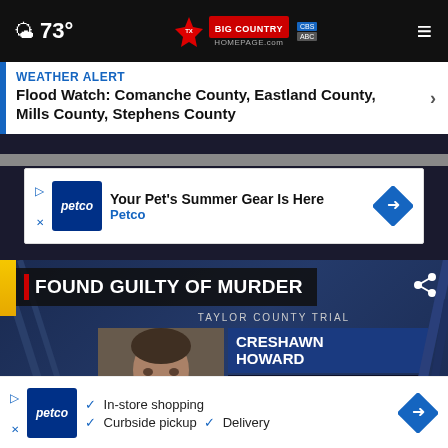73° Big Country Homepage — Navigation bar
WEATHER ALERT
Flood Watch: Comanche County, Eastland County, Mills County, Stephens County
[Figure (screenshot): Petco advertisement banner: 'Your Pet's Summer Gear Is Here' with Petco logo]
[Figure (screenshot): News broadcast screenshot showing 'FOUND GUILTY OF MURDER' with Taylor County Trial lower-third graphic. Mugshot of Creshawn Howard. Text: CRESHAWN HOWARD, ABILENE MAN SENTENCED TO SERVE 45 YEARS IN PRISON, 1 OF 5 SUSPECTS INVOLVED IN SHOOTING DEATH OF DAVID DEV... ON DEC 21, 2019]
[Figure (screenshot): Petco advertisement banner: In-store shopping, Curbside pickup, Delivery]